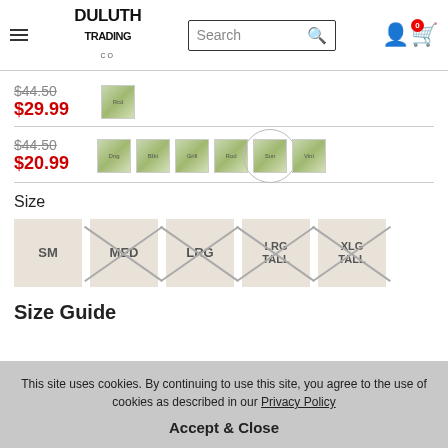Duluth Trading Co - Search bar - Cart
$44.50 $29.99 — Red color swatch
$44.50 $20.99 — Dng, BIkt, Grill, Rod, Sun, Vint color swatches
Size
SM
MED
LRG
LRG TALL
XLG TALL
Size Guide
This site uses cookies. By continuing to use this site, you agree to the use of cookies as described in our Privacy Policy
Accept & Close